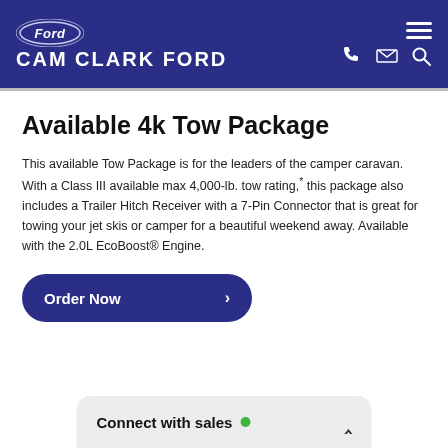CAM CLARK FORD
Available 4k Tow Package
This available Tow Package is for the leaders of the camper caravan. With a Class III available max 4,000-lb. tow rating,* this package also includes a Trailer Hitch Receiver with a 7-Pin Connector that is great for towing your jet skis or camper for a beautiful weekend away. Available with the 2.0L EcoBoost® Engine.
Order Now
Connect with sales